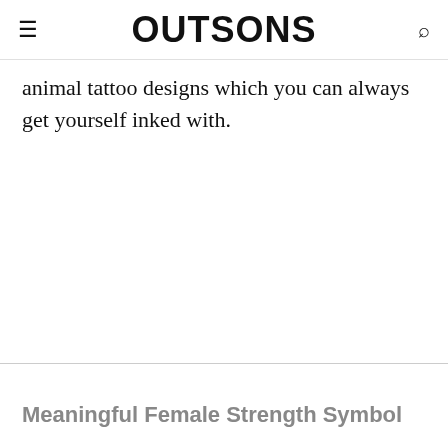OUTSONS
animal tattoo designs which you can always get yourself inked with.
Meaningful Female Strength Symbol